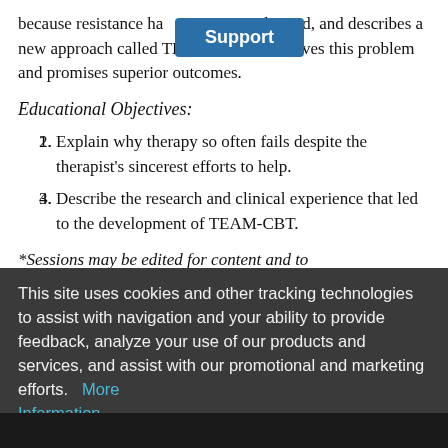disappointing results... argues that this is because resistance has not been addressed, and describes a new approach called TEAM-CBT that solves this problem and promises superior outcomes.
Educational Objectives:
Explain why therapy so often fails despite the therapist's sincerest efforts to help.
Describe the research and clinical experience that led to the development of TEAM-CBT.
*Sessions may be edited for content and to preserve confidentiality*
This site uses cookies and other tracking technologies to assist with navigation and your ability to provide feedback, analyze your use of our products and services, and assist with our promotional and marketing efforts.   More Information
Accept